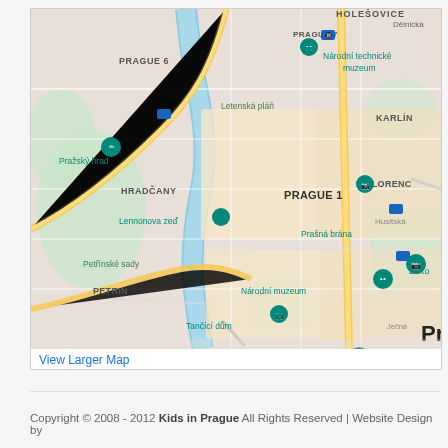[Figure (map): Google Maps screenshot showing central Prague, Czech Republic, with landmarks including Národní technické muzeum, Letenská pláň, Pražský hrad, Hradčany, Prague 1, Lennonova zeď, Prašná brána, Florenc, Karlín, Petřínské sady, Petrin, Národní muzeum, Tančící dům, Smíchov, Muzeum Policie České republiky, Folimanka, Žižkov, and the Vltava river. Map pins mark various tourist attractions.]
View Larger Map
Copyright © 2008 - 2012 Kids in Prague All Rights Reserved | Website Design by